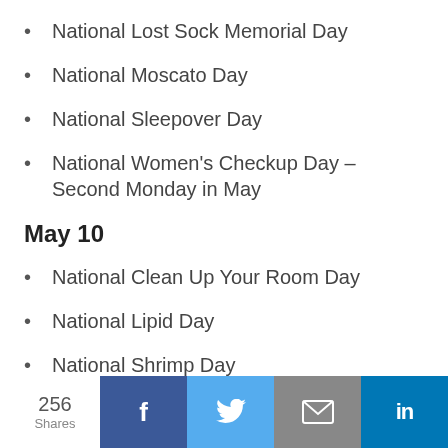National Lost Sock Memorial Day
National Moscato Day
National Sleepover Day
National Women's Checkup Day – Second Monday in May
May 10
National Clean Up Your Room Day
National Lipid Day
National Shrimp Day
256 Shares | Facebook | Twitter | Email | LinkedIn